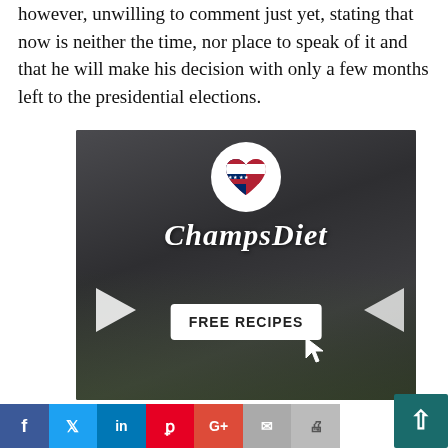however, unwilling to comment just yet, stating that now is neither the time, nor place to speak of it and that he will make his decision with only a few months left to the presidential elections.
[Figure (advertisement): ChampsDiet advertisement banner featuring a dark stone background with food items (tomatoes, pasta, olive oil, herbs, cheese), a circular logo with an American flag heart design and chef hat, the brand name 'ChampsDiet' in white italic script, a white 'FREE RECIPES' button with arrow indicators on both sides and a cursor icon, and a scroll-to-top button.]
Advertisement
Facebook share button
Twitter share button
LinkedIn share button
Pinterest share button
Google+ share button
Email share button
Print share button